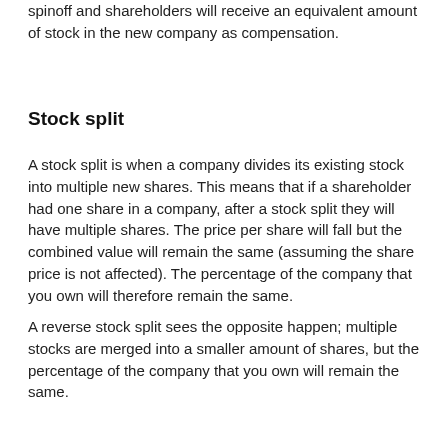spinoff and shareholders will receive an equivalent amount of stock in the new company as compensation.
Stock split
A stock split is when a company divides its existing stock into multiple new shares. This means that if a shareholder had one share in a company, after a stock split they will have multiple shares. The price per share will fall but the combined value will remain the same (assuming the share price is not affected). The percentage of the company that you own will therefore remain the same.
A reverse stock split sees the opposite happen; multiple stocks are merged into a smaller amount of shares, but the percentage of the company that you own will remain the same.